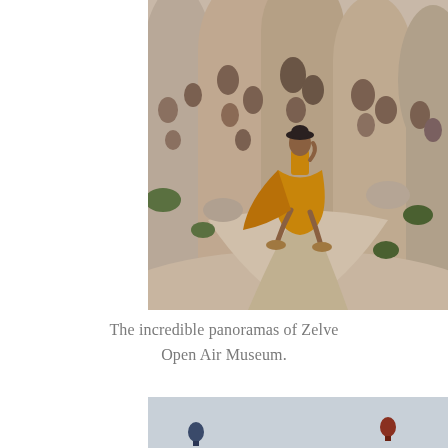[Figure (photo): A woman in an orange patterned dress sitting on a stone path in front of ancient cave dwellings carved into tall rock formations at Zelve Open Air Museum, Cappadocia, Turkey.]
The incredible panoramas of Zelve Open Air Museum.
[Figure (photo): A light blue sky with two hot air balloons visible in the distance, partially cut off at the bottom of the page.]